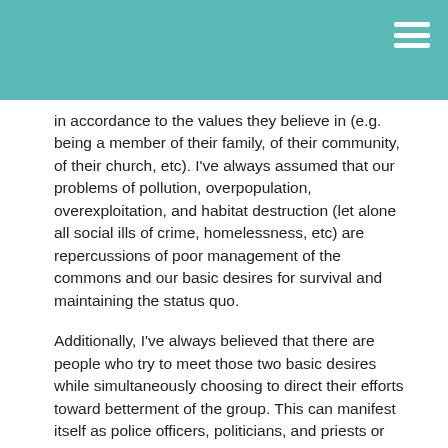but are instead just trying to survive (e.g. make money, feed their family, provide for basic needs) or trying to build their li in accordance to the values they believe in (e.g. being a member of their family, of their community, of their church, etc). I've always assumed that our problems of pollution, overpopulation, overexploitation, and habitat destruction (let alone all social ills of crime, homelessness, etc) are repercussions of poor management of the commons and our basic desires for survival and maintaining the status quo.
Additionally, I've always believed that there are people who try to meet those two basic desires while simultaneously choosing to direct their efforts toward betterment of the group. This can manifest itself as police officers, politicians, and priests or revolutionaries, social workers, and conservationists. Whether you feel you are helping the world or not is subjective and whether you actually are or not is difficult to quantify and dependent on your rubric. I've thought this way and apparently that is Meliorism. The opposite belief is that we can't make the world better.